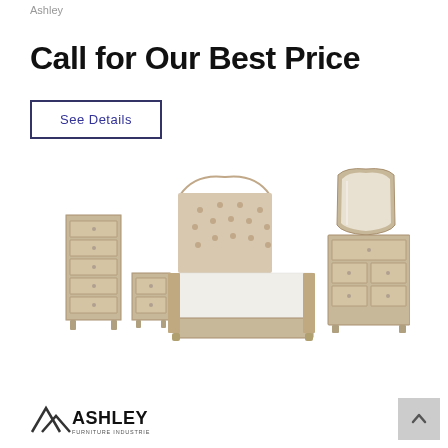Ashley
Call for Our Best Price
See Details
[Figure (photo): Bedroom furniture set consisting of a tufted upholstered bed with arched headboard, nightstand, tall chest of drawers, dresser with mirror — all in a light grayish-beige finish]
[Figure (logo): Ashley Furniture Industries, LLC logo with mountain peak graphic and bold text]